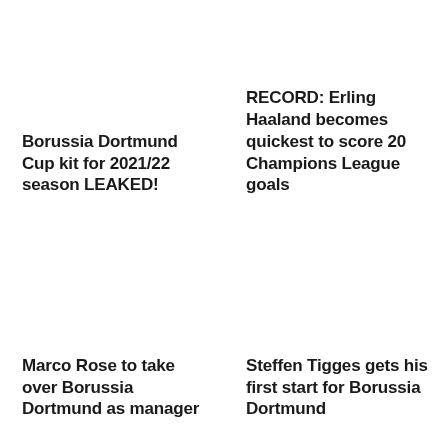Borussia Dortmund Cup kit for 2021/22 season LEAKED!
RECORD: Erling Haaland becomes quickest to score 20 Champions League goals
Marco Rose to take over Borussia Dortmund as manager
Steffen Tigges gets his first start for Borussia Dortmund